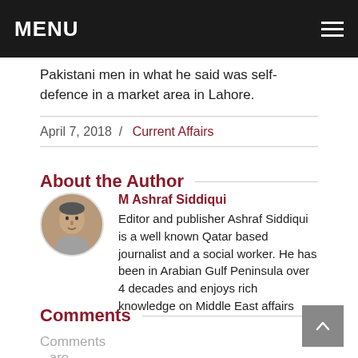MENU
Pakistani men in what he said was self-defence in a market area in Lahore.
April 7, 2018  /  Current Affairs
About the Author
[Figure (photo): Circular portrait photo of M Ashraf Siddiqui]
M Ashraf Siddiqui
Editor and publisher Ashraf Siddiqui is a well known Qatar based journalist and a social worker. He has been in Arabian Gulf Peninsula over 4 decades and enjoys rich knowledge on Middle East affairs
Comments
Comments are closed.